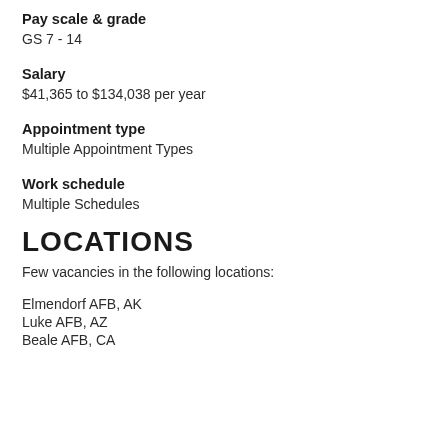Pay scale & grade
GS 7 - 14
Salary
$41,365 to $134,038 per year
Appointment type
Multiple Appointment Types
Work schedule
Multiple Schedules
LOCATIONS
Few vacancies in the following locations:
Elmendorf AFB, AK
Luke AFB, AZ
Beale AFB, CA